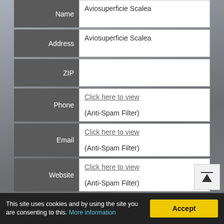| Field | Value |
| --- | --- |
| Name | Aviosuperficie Scalea |
| Address | Aviosuperficie Scalea |
| ZIP |  |
| Phone | Click here to view
(Anti-Spam Filter) |
| Email | Click here to view
(Anti-Spam Filter) |
| Website | Click here to view
(Anti-Spam Filter) |
| GPS | 39.77619, 15.81134 |
This site uses cookies and by using the site you are consenting to this. More information
Accept